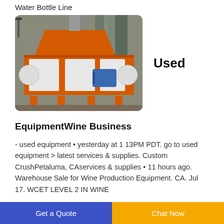Water Bottle Line
[Figure (photo): Industrial orange and white shredder/crusher machine with blue motor in a factory setting]
Used
EquipmentWine Business
- used equipment • yesterday at 1 13PM PDT. go to used equipment > latest services & supplies. Custom CrushPetaluma, CAservices & supplies • 11 hours ago. Warehouse Sale for Wine Production Equipment. CA. Jul 17. WCET LEVEL 2 IN WINE
Get a Quote   Chat Now